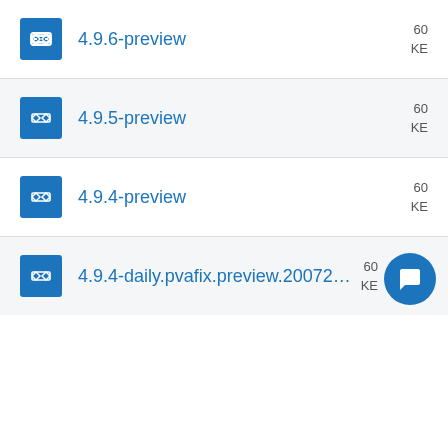4.9.6-preview
4.9.5-preview
4.9.4-preview
4.9.4-daily.pvafix.preview.200729-15